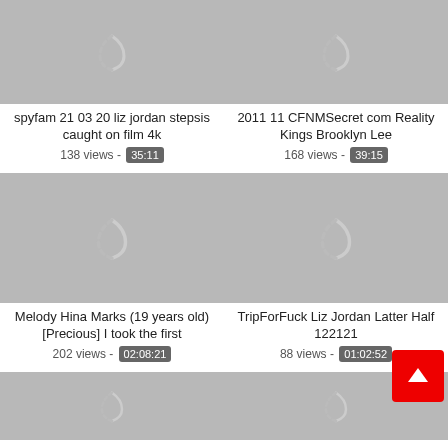[Figure (screenshot): Loading thumbnail placeholder (gray) for video card 1]
spyfam 21 03 20 liz jordan stepsis caught on film 4k
138 views - 35:11
[Figure (screenshot): Loading thumbnail placeholder (gray) for video card 2]
2011 11 CFNMSecret com Reality Kings Brooklyn Lee
168 views - 39:15
[Figure (screenshot): Loading thumbnail placeholder (gray) for video card 3]
Melody Hina Marks (19 years old) [Precious] I took the first
202 views - 02:08:21
[Figure (screenshot): Loading thumbnail placeholder (gray) for video card 4]
TripForFuck Liz Jordan Latter Half 122121
88 views - 01:02:52
[Figure (screenshot): Loading thumbnail placeholder (gray) for video card 5 (partial)]
[Figure (screenshot): Loading thumbnail placeholder (gray) for video card 6 (partial)]